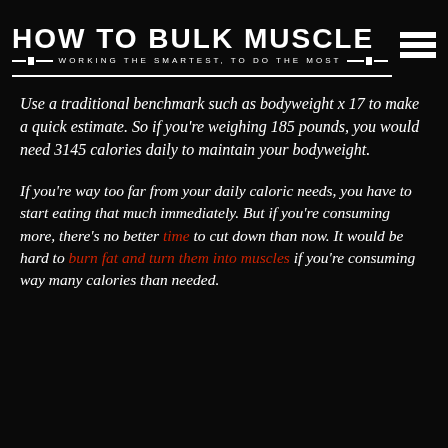HOW TO BULK MUSCLE — WORKING THE SMARTEST, TO DO THE MOST
Use a traditional benchmark such as bodyweight x 17 to make a quick estimate. So if you're weighing 185 pounds, you would need 3145 calories daily to maintain your bodyweight.
If you're way too far from your daily caloric needs, you have to start eating that much immediately. But if you're consuming more, there's no better time to cut down than now. It would be hard to burn fat and turn them into muscles if you're consuming way many calories than needed.